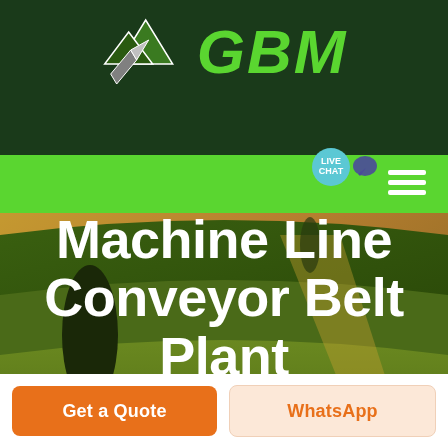[Figure (logo): GBM company logo with mountain/peaks icon in white/gray on dark green background, with bright green italic GBM text]
[Figure (photo): Aerial/landscape photo of rolling agricultural fields with warm orange/yellow and green tones, with a dark tree silhouette on left side]
Machine Line Conveyor Belt Plant Structural Design
Get a Quote
WhatsApp